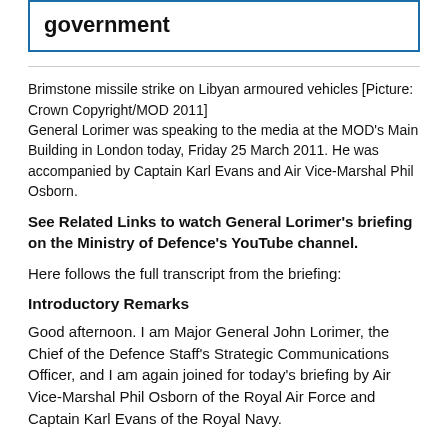government
Brimstone missile strike on Libyan armoured vehicles [Picture: Crown Copyright/MOD 2011]
General Lorimer was speaking to the media at the MOD's Main Building in London today, Friday 25 March 2011. He was accompanied by Captain Karl Evans and Air Vice-Marshal Phil Osborn.
See Related Links to watch General Lorimer's briefing on the Ministry of Defence's YouTube channel.
Here follows the full transcript from the briefing:
Introductory Remarks
Good afternoon. I am Major General John Lorimer, the Chief of the Defence Staff's Strategic Communications Officer, and I am again joined for today's briefing by Air Vice-Marshal Phil Osborn of the Royal Air Force and Captain Karl Evans of the Royal Navy.